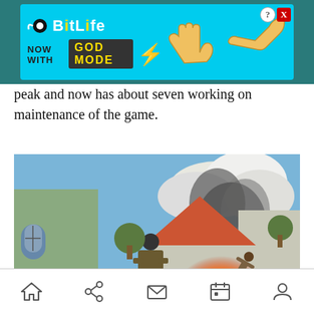[Figure (screenshot): BitLife advertisement banner: cyan/teal background with BitLife logo, text 'NOW WITH GOD MODE', yellow lightning bolt, pointing hand, help and close buttons.]
peak and now has about seven working on maintenance of the game.
[Figure (screenshot): Video game screenshot showing soldiers in brown uniforms running through a European-style village street with a large explosion sending a figure flying through the air, smoke rising in background.]
Navigation bar with home, share, mail, calendar, and profile icons